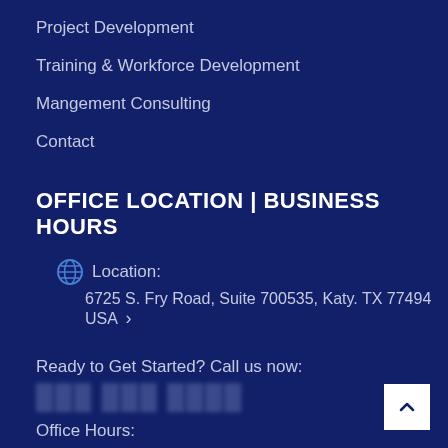Project Development
Training & Workforce Development
Mangement Consulting
Contact
OFFICE LOCATION | BUSINESS HOURS
Location: 6725 S. Fry Road, Suite 700535, Katy. TX 77494 USA
Ready to Get Started? Call us now:
Office Hours: